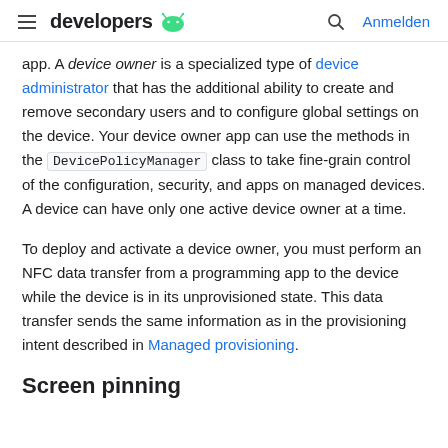≡ developers 🤖   🔍 Anmelden
app. A device owner is a specialized type of device administrator that has the additional ability to create and remove secondary users and to configure global settings on the device. Your device owner app can use the methods in the DevicePolicyManager class to take fine-grain control of the configuration, security, and apps on managed devices. A device can have only one active device owner at a time.
To deploy and activate a device owner, you must perform an NFC data transfer from a programming app to the device while the device is in its unprovisioned state. This data transfer sends the same information as in the provisioning intent described in Managed provisioning.
Screen pinning